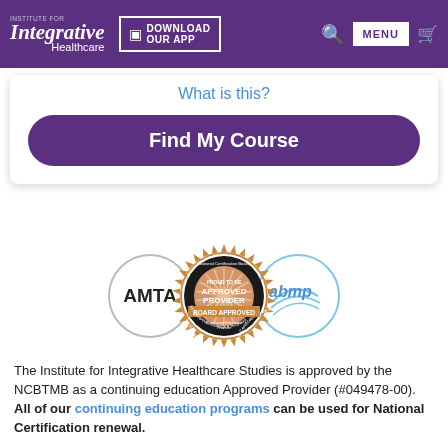Institute for Integrative Healthcare — DOWNLOAD OUR APP — MENU
What is this?
Find My Course
[Figure (logo): AMTA circle logo, NCBTMB Approved Provider badge (PROUD TO BE APPROVED PROVIDER BOARD APPROVED Continuing Education Provider for Therapeutic Massage & Bodywork), and abmp circle logo]
The Institute for Integrative Healthcare Studies is approved by the NCBTMB as a continuing education Approved Provider (#049478-00). All of our continuing education programs can be used for National Certification renewal.